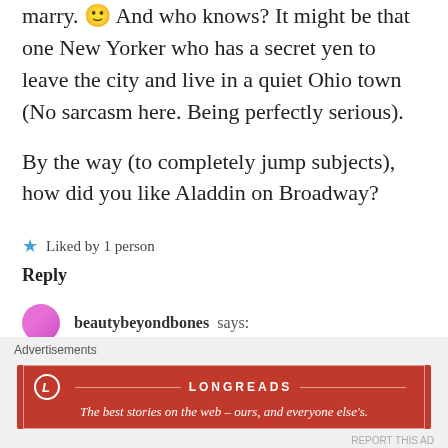marry. 🙂 And who knows? It might be that one New Yorker who has a secret yen to leave the city and live in a quiet Ohio town (No sarcasm here. Being perfectly serious).
By the way (to completely jump subjects), how did you like Aladdin on Broadway?
★ Liked by 1 person
Reply
beautybeyondbones says:
Advertisements
[Figure (other): Longreads advertisement banner: red background with Longreads logo and tagline 'The best stories on the web — ours, and everyone else's.']